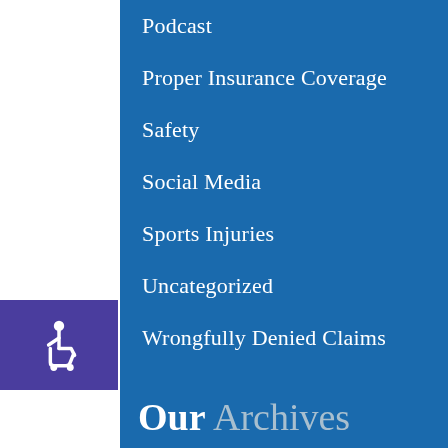Podcast
Proper Insurance Coverage
Safety
Social Media
Sports Injuries
Uncategorized
Wrongfully Denied Claims
Our Archives